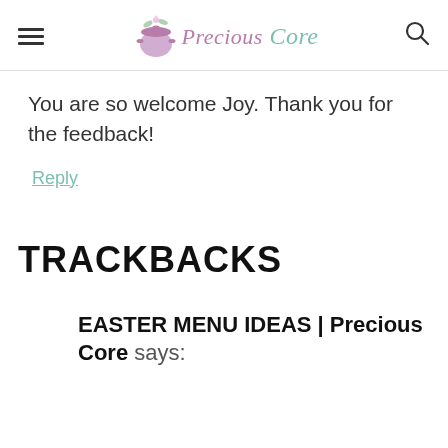Precious Core
You are so welcome Joy. Thank you for the feedback!
Reply
TRACKBACKS
EASTER MENU IDEAS | Precious Core says: